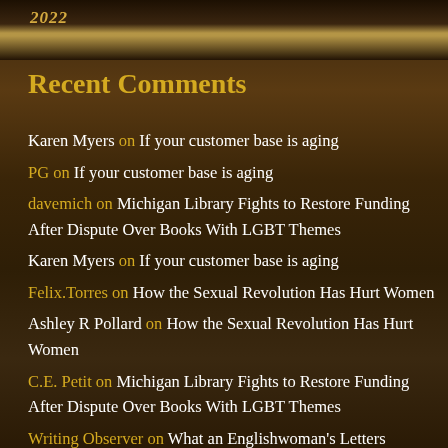2022
Recent Comments
Karen Myers on If your customer base is aging
PG on If your customer base is aging
davemich on Michigan Library Fights to Restore Funding After Dispute Over Books With LGBT Themes
Karen Myers on If your customer base is aging
Felix.Torres on How the Sexual Revolution Has Hurt Women
Ashley R Pollard on How the Sexual Revolution Has Hurt Women
C.E. Petit on Michigan Library Fights to Restore Funding After Dispute Over Books With LGBT Themes
Writing Observer on What an Englishwoman's Letters